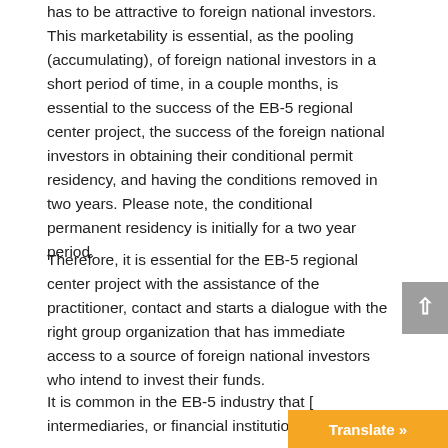has to be attractive to foreign national investors. This marketability is essential, as the pooling (accumulating), of foreign national investors in a short period of time, in a couple months, is essential to the success of the EB-5 regional center project, the success of the foreign national investors in obtaining their conditional permit residency, and having the conditions removed in two years. Please note, the conditional permanent residency is initially for a two year period.
Therefore, it is essential for the EB-5 regional center project with the assistance of the practitioner, contact and starts a dialogue with the right group organization that has immediate access to a source of foreign national investors who intend to invest their funds.
It is common in the EB-5 industry that [intermediaries, or financial institutions…